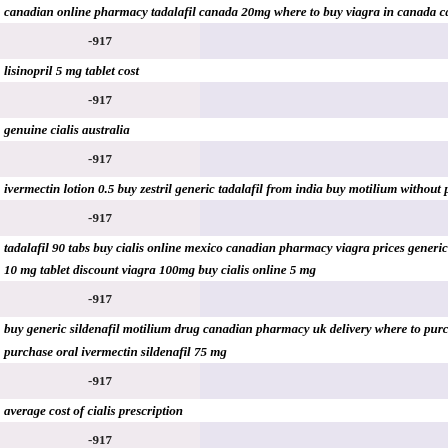canadian online pharmacy tadalafil canada 20mg where to buy viagra in canada cap...
| -917 |  |
| --- | --- |
lisinopril 5 mg tablet cost
| -917 |  |
| --- | --- |
genuine cialis australia
| -917 |  |
| --- | --- |
ivermectin lotion 0.5 buy zestril generic tadalafil from india buy motilium without pres...
| -917 |  |
| --- | --- |
tadalafil 90 tabs buy cialis online mexico canadian pharmacy viagra prices generic tada...
10 mg tablet discount viagra 100mg buy cialis online 5 mg
| -917 |  |
| --- | --- |
buy generic sildenafil motilium drug canadian pharmacy uk delivery where to purchase...
purchase oral ivermectin sildenafil 75 mg
| -917 |  |
| --- | --- |
average cost of cialis prescription
| -917 |  |
| --- | --- |
cialis online india
| -917 |  |
| --- | --- |